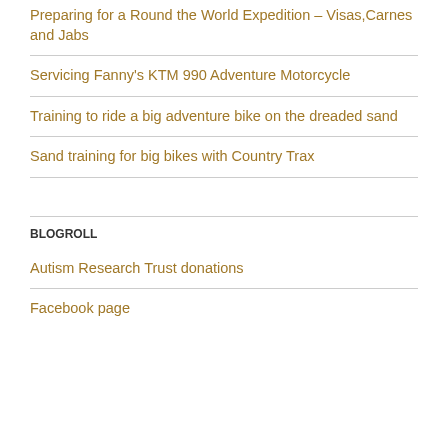Preparing for a Round the World Expedition – Visas,Carnes and Jabs
Servicing Fanny's KTM 990 Adventure Motorcycle
Training to ride a big adventure bike on the dreaded sand
Sand training for big bikes with Country Trax
BLOGROLL
Autism Research Trust donations
Facebook page